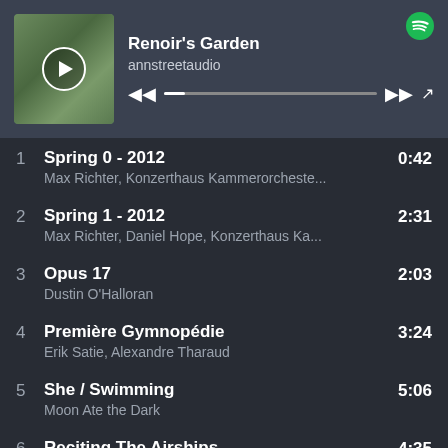[Figure (screenshot): Spotify player header showing album art for Renoir's Garden playlist by annstreetaudio, with playback controls and progress bar]
Renoir's Garden
annstreetaudio
1  Spring 0 - 2012  Max Richter, Konzerthaus Kammerorcheste...  0:42
2  Spring 1 - 2012  Max Richter, Daniel Hope, Konzerthaus Ka...  2:31
3  Opus 17  Dustin O'Halloran  2:03
4  Première Gymnopédie  Erik Satie, Alexandre Tharaud  3:24
5  She / Swimming  Moon Ate the Dark  5:06
6  Reciting The Airships  Eluvium  4:35
7  The Edge of a Petal  Brian Crain  4:20
8  Rêverie, L. 68  3:53